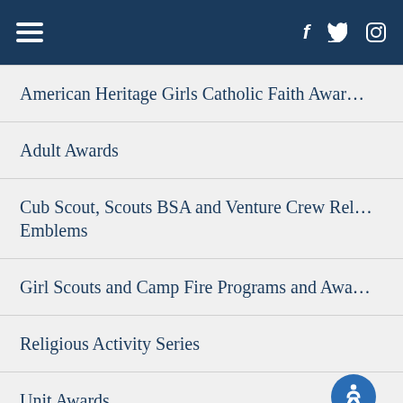Navigation header with hamburger menu and social icons (Facebook, Twitter, Instagram)
American Heritage Girls Catholic Faith Awards
Adult Awards
Cub Scout, Scouts BSA and Venture Crew Religious Emblems
Girl Scouts and Camp Fire Programs and Awards
Religious Activity Series
Unit Awards